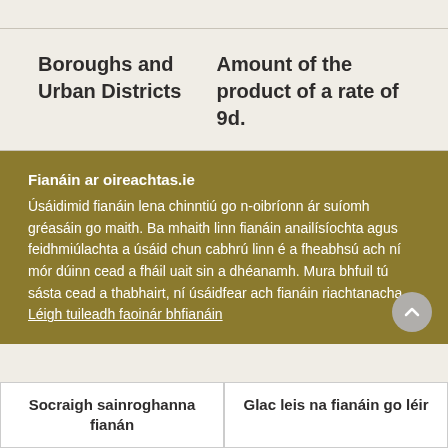| Boroughs and Urban Districts | Amount of the product of a rate of 9d. |
| --- | --- |
Fianáin ar oireachtas.ie
Úsáidimid fianáin lena chinntiú go n-oibríonn ár suíomh gréasáin go maith. Ba mhaith linn fianáin anailísíochta agus feidhmiúlachta a úsáid chun cabhrú linn é a fheabhsú ach ní mór dúinn cead a fháil uait sin a dhéanamh. Mura bhfuil tú sásta cead a thabhairt, ní úsáidfear ach fianáin riachtanacha. Léigh tuileadh faoinár bhfianáin
Socraigh sainroghanna fianán
Glac leis na fianáin go léir